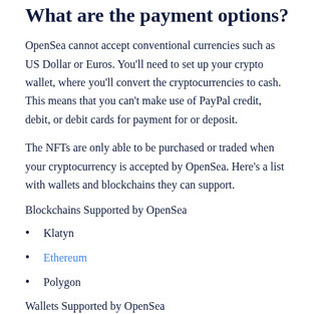What are the payment options?
OpenSea cannot accept conventional currencies such as US Dollar or Euros. You'll need to set up your crypto wallet, where you'll convert the cryptocurrencies to cash. This means that you can't make use of PayPal credit, debit, or debit cards for payment for or deposit.
The NFTs are only able to be purchased or traded when your cryptocurrency is accepted by OpenSea. Here's a list with wallets and blockchains they can support.
Blockchains Supported by OpenSea
Klatyn
Ethereum
Polygon
Wallets Supported by OpenSea